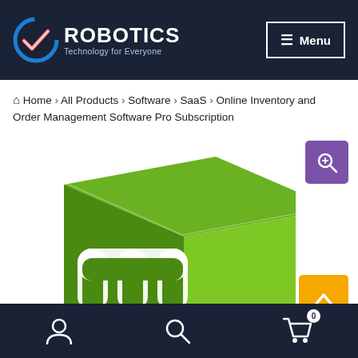ROBOTICS Technology for Everyone — Menu
Home > All Products > Software > SaaS > Online Inventory and Order Management Software Pro Subscription
[Figure (illustration): 3D green cube with Magento-style logo/icon on front, white background, representing Online Inventory and Order Management Software Pro product image]
User icon | Search icon | Cart icon (0)